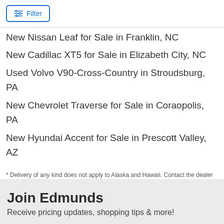Filter
New Nissan Leaf for Sale in Franklin, NC
New Cadillac XT5 for Sale in Elizabeth City, NC
Used Volvo V90-Cross-Country in Stroudsburg, PA
New Chevrolet Traverse for Sale in Coraopolis, PA
New Hyundai Accent for Sale in Prescott Valley, AZ
* Delivery of any kind does not apply to Alaska and Hawaii. Contact the dealer for delivery details, restrictions and costs.
Join Edmunds
Receive pricing updates, shopping tips & more!